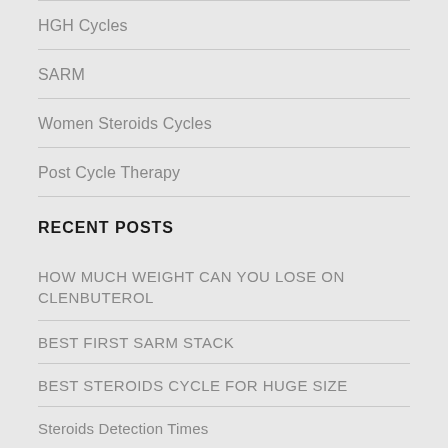HGH Cycles
SARM
Women Steroids Cycles
Post Cycle Therapy
RECENT POSTS
HOW MUCH WEIGHT CAN YOU LOSE ON CLENBUTEROL
BEST FIRST SARM STACK
BEST STEROIDS CYCLE FOR HUGE SIZE
Steroids Detection Times
Stack With Testosterone Cypionate